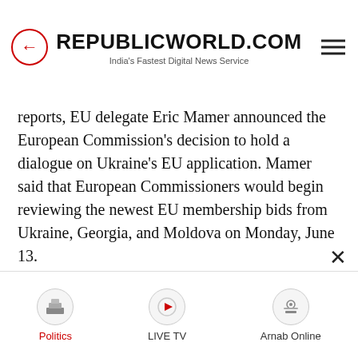REPUBLICWORLD.COM — India's Fastest Digital News Service
reports, EU delegate Eric Mamer announced the European Commission's decision to hold a dialogue on Ukraine's EU application. Mamer said that European Commissioners would begin reviewing the newest EU membership bids from Ukraine, Georgia, and Moldova on Monday, June 13.
According to media reports, Mamer further stated that the European Commission would offer recommendations to EU member nations following the completion of the European Commissioners' final review on June 17. At the EU summit slated for June 23-24, EU member states will decide whether
Politics | LIVE TV | Arnab Online